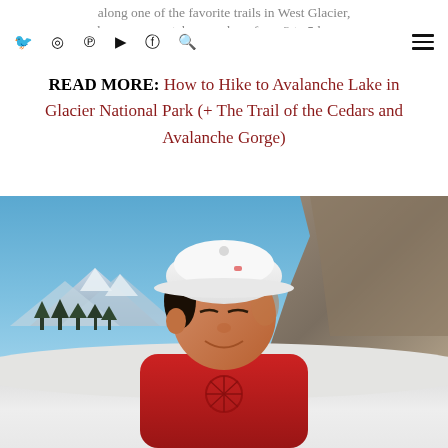along one of the favorite trails in West Glacier, however, can take anywhere from 3 to 5 hours.
READ MORE: How to Hike to Avalanche Lake in Glacier National Park (+ The Trail of the Cedars and Avalanche Gorge)
[Figure (photo): A young boy wearing a white baseball cap and red t-shirt with a spider graphic, squinting in bright sunlight. Background shows blue sky, rocky cliffs, snow-covered ground, and mountain scenery in Glacier National Park.]